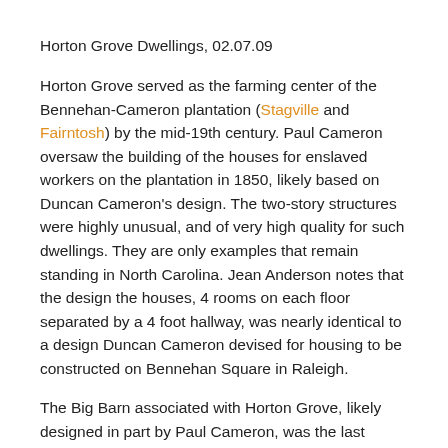Horton Grove Dwellings, 02.07.09
Horton Grove served as the farming center of the Bennehan-Cameron plantation (Stagville and Fairntosh) by the mid-19th century. Paul Cameron oversaw the building of the houses for enslaved workers on the plantation in 1850, likely based on Duncan Cameron's design. The two-story structures were highly unusual, and of very high quality for such dwellings. They are only examples that remain standing in North Carolina. Jean Anderson notes that the design the houses, 4 rooms on each floor separated by a 4 foot hallway, was nearly identical to a design Duncan Cameron devised for housing to be constructed on Bennehan Square in Raleigh.
The Big Barn associated with Horton Grove, likely designed in part by Paul Cameron, was the last structure built on the plantation by enslaved labor. It was and is an impressive structure: 135 feet long, 33 feet wide on a stone foundation. The mortise and tenon trusses, with pegged, protruding tenons are impressive enough to me in and of themselves. The structure is two stories tall and was completed in 1860.